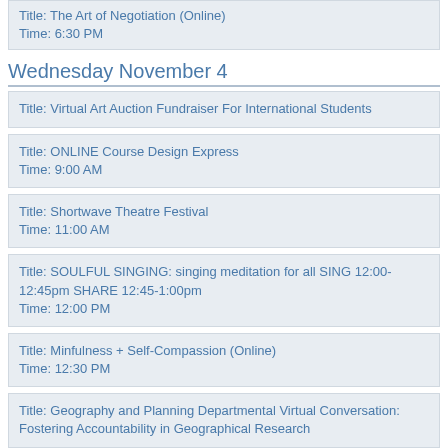Title: The Art of Negotiation (Online)
Time: 6:30 PM
Wednesday November 4
Title: Virtual Art Auction Fundraiser For International Students
Title: ONLINE Course Design Express
Time: 9:00 AM
Title: Shortwave Theatre Festival
Time: 11:00 AM
Title: SOULFUL SINGING: singing meditation for all SING 12:00-12:45pm SHARE 12:45-1:00pm
Time: 12:00 PM
Title: Minfulness + Self-Compassion (Online)
Time: 12:30 PM
Title: Geography and Planning Departmental Virtual Conversation: Fostering Accountability in Geographical Research